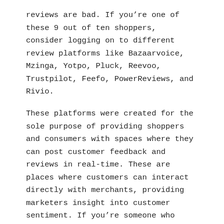reviews are bad. If you're one of these 9 out of ten shoppers, consider logging on to different review platforms like Bazaarvoice, Mzinga, Yotpo, Pluck, Reevoo, Trustpilot, Feefo, PowerReviews, and Rivio.
These platforms were created for the sole purpose of providing shoppers and consumers with spaces where they can post customer feedback and reviews in real-time. These are places where customers can interact directly with merchants, providing marketers insight into customer sentiment. If you're someone who checks reviews first before adding to your cart, check out these review platforms first.
Supermarket reservations